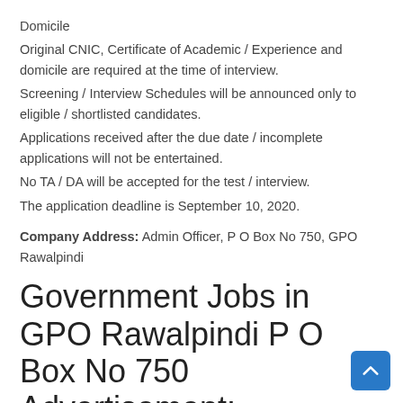Domicile
Original CNIC, Certificate of Academic / Experience and domicile are required at the time of interview.
Screening / Interview Schedules will be announced only to eligible / shortlisted candidates.
Applications received after the due date / incomplete applications will not be entertained.
No TA / DA will be accepted for the test / interview.
The application deadline is September 10, 2020.
Company Address: Admin Officer, P O Box No 750, GPO Rawalpindi
Government Jobs in GPO Rawalpindi P O Box No 750 Advertisement: